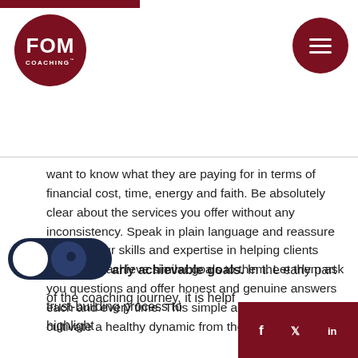[Figure (logo): FOM Coaching logo — dark red circle with white text FOM COACHING™, top-left of header]
[Figure (other): Dark red circle hamburger menu icon, top-right of header]
want to know what they are paying for in terms of financial cost, time, energy and faith. Be absolutely clear about the services you offer without any inconsistency. Speak in plain language and reassure them of your skills and expertise in helping clients wanting to achieve similar goals to them. Let them ask you questions and offer honest and genuine answers each and every time. This simple approach will cultivate a healthy dynamic from the outset.
Early achievable goals.  In the early part of the coaching journey, it is helpf[ul in the] trust-building process to highlight[...]
[Figure (other): Dark/light mode toggle switch — dark navy background with white circle knob]
[Figure (other): Social media icons row — Facebook, Twitter, LinkedIn on dark red background, bottom-right corner]